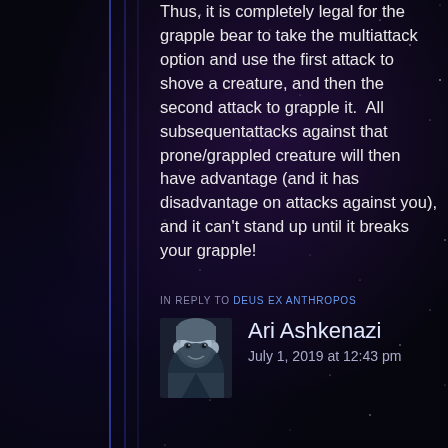Thus, it is completely legal for the grapple bear to take the multiattack option and use the first attack to shove a creature, and then the second attack to grapple it.  All subsequentattacks against that prone/grappled creature will then have advantage (and it has disadvantage on attacks against you), and it can't stand up until it breaks your grapple!
IN REPLY TO DEUS EX ANTHROPOS
Ari Ashkenazi
July 1, 2019 at 12:43 pm